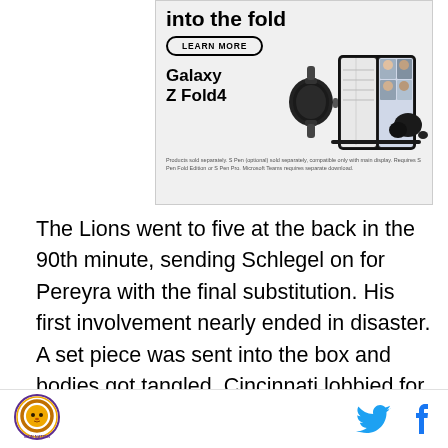[Figure (advertisement): Samsung Galaxy Z Fold4 advertisement with 'into the fold' headline, LEARN MORE button, watch, foldable phone with video call on screen, and earbuds. Disclaimer text: Products sold separately. S Pen (optional) sold separately, compatible only with main display. Requires S Pen Fold Edition or S Pen Pro. Microsoft Teams requires separate download.]
The Lions went to five at the back in the 90th minute, sending Schlegel on for Pereyra with the final substitution. His first involvement nearly ended in disaster. A set piece was sent into the box and bodies got tangled. Cincinnati lobbied for a penalty but none was given during live play. However, de Oliveira went to the monitor to take a second look after consulting
Lion logo icon, Twitter icon, Facebook icon